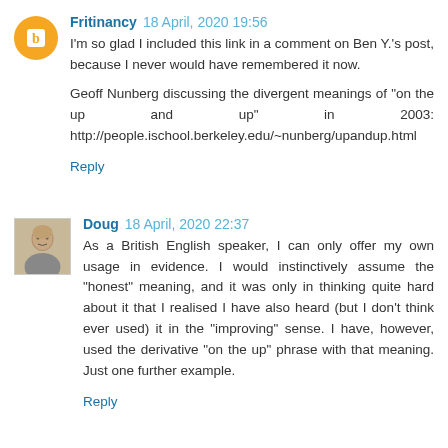Fritinancy 18 April, 2020 19:56
I'm so glad I included this link in a comment on Ben Y.'s post, because I never would have remembered it now.

Geoff Nunberg discussing the divergent meanings of "on the up and up" in 2003: http://people.ischool.berkeley.edu/~nunberg/upandup.html
Reply
Doug 18 April, 2020 22:37
As a British English speaker, I can only offer my own usage in evidence. I would instinctively assume the "honest" meaning, and it was only in thinking quite hard about it that I realised I have also heard (but I don't think ever used) it in the "improving" sense. I have, however, used the derivative "on the up" phrase with that meaning. Just one further example.
Reply